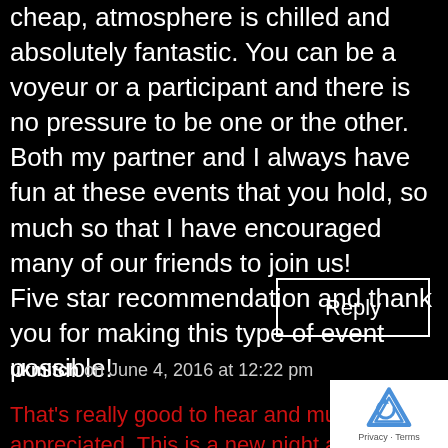cheap, atmosphere is chilled and absolutely fantastic. You can be a voyeur or a participant and there is no pressure to be one or the other. Both my partner and I always have fun at these events that you hold, so much so that I have encouraged many of our friends to join us! Five star recommendation and thank you for making this type of event possible!
Reply
ukmitch on June 4, 2016 at 12:22 pm
That's really good to hear and much appreciated. This is a new night and